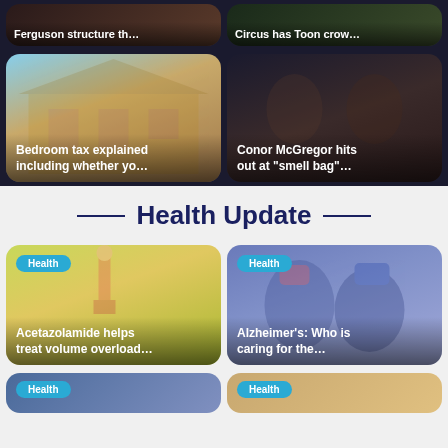[Figure (photo): News card: Ferguson structure th...]
[Figure (photo): News card: Circus has Toon crow...]
[Figure (photo): News card: Bedroom tax explained including whether yo...]
[Figure (photo): News card: Conor McGregor hits out at "smell bag"...]
Health Update
[Figure (photo): Health news card: Acetazolamide helps treat volume overload...]
[Figure (photo): Health news card: Alzheimer's: Who is caring for the...]
[Figure (photo): Health news card (partial, bottom left)]
[Figure (photo): Health news card (partial, bottom right)]